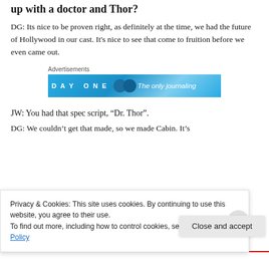up with a doctor and Thor?
DG: Its nice to be proven right, as definitely at the time, we had the future of Hollywood in our cast. It's nice to see that come to fruition before we even came out.
[Figure (screenshot): Advertisement banner for 'Day One' journaling app with blue gradient background showing 'DAY ONE' text, circular icons, and 'The only journaling' text]
JW: You had that spec script, “Dr. Thor”.
DG: We couldn’t get that made, so we made Cabin. It’s
Privacy & Cookies: This site uses cookies. By continuing to use this website, you agree to their use.
To find out more, including how to control cookies, see here: Cookie Policy
Close and accept